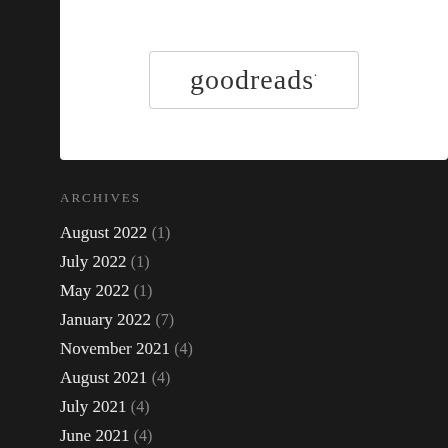[Figure (logo): Goodreads logo inside a rounded rectangle border]
Archives
August 2022 (1)
July 2022 (1)
May 2022 (1)
January 2022 (7)
November 2021 (4)
August 2021 (4)
July 2021 (4)
June 2021 (4)
May 2021 (14)
October 2020 (1)
March 2020 (3)
January 2020 (2)